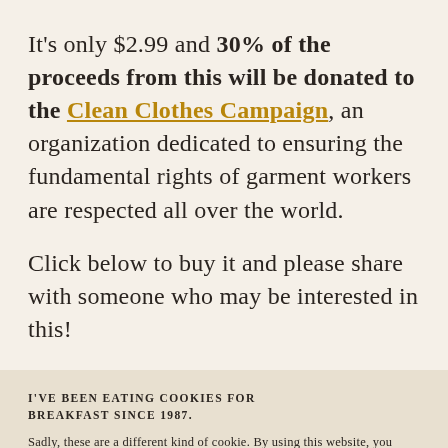It's only $2.99 and 30% of the proceeds from this will be donated to the Clean Clothes Campaign, an organization dedicated to ensuring the fundamental rights of garment workers are respected all over the world.
Click below to buy it and please share with someone who may be interested in this!
I'VE BEEN EATING COOKIES FOR BREAKFAST SINCE 1987.
Sadly, these are a different kind of cookie. By using this website, you agree to our use of cookies. But fortunately, like the ones we eat, these cookies make your life better (and viewing this site easier).
ACCEPT